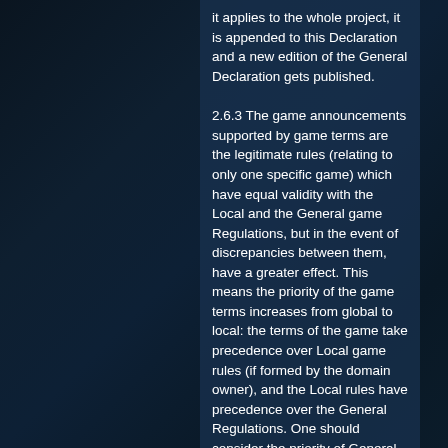it applies to the whole project, it is appended to this Declaration and a new edition of the General Declaration gets published.
2.6.3 The game announcements supported by game terms are the legitimate rules (relating to only one specific game) which have equal validity with the Local and the General game Regulations, but in the event of discrepancies between them, have a greater effect. This means the priority of the game terms increases from global to local: the terms of the game take precedence over Local game rules (if formed by the domain owner), and the Local rules have precedence over the General Regulations. One should consider the priority of General Declaration over all other rules (general or local), procedures and terms. Any deviation from the General Declaration is not valid.